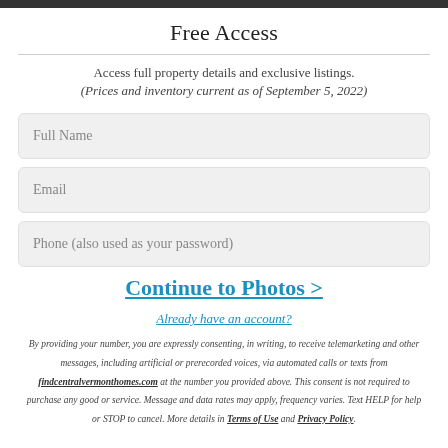Free Access
Access full property details and exclusive listings.
(Prices and inventory current as of September 5, 2022)
[Figure (screenshot): Form field placeholder: Full Name]
[Figure (screenshot): Form field placeholder: Email]
[Figure (screenshot): Form field placeholder: Phone (also used as your password)]
Continue to Photos >
Already have an account?
By providing your number, you are expressly consenting, in writing, to receive telemarketing and other messages, including artificial or prerecorded voices, via automated calls or texts from findcentralvermonthomes.com at the number you provided above. This consent is not required to purchase any good or service. Message and data rates may apply, frequency varies. Text HELP for help or STOP to cancel. More details in Terms of Use and Privacy Policy.